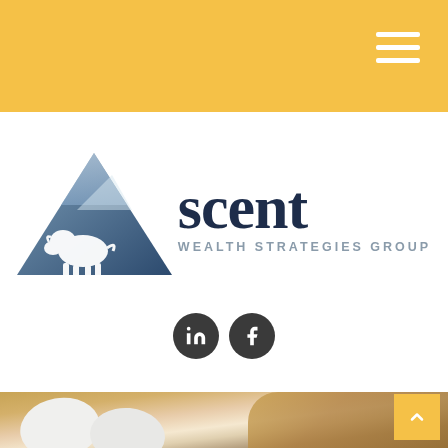[Figure (logo): Ascent Wealth Strategies Group logo featuring a blue mountain triangle with a white bison silhouette, and the text 'Ascent WEALTH STRATEGIES GROUP' in dark navy blue]
[Figure (infographic): Social media icons: LinkedIn (in) and Facebook (f) in dark circular buttons]
[Figure (photo): Bottom photo showing eggs and bread in warm golden-brown tones]